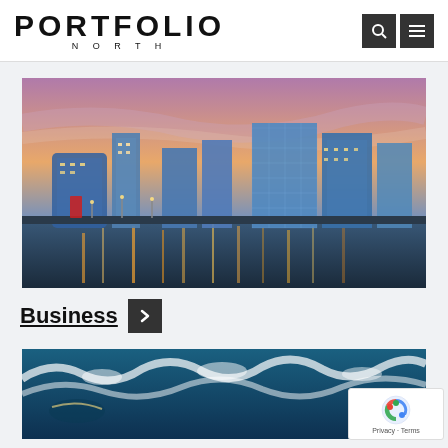PORTFOLIO NORTH
[Figure (photo): Cityscape at dusk showing modern office buildings and a waterfront with reflections of lights on the water, likely MediaCityUK in Salford, Manchester]
Business →
[Figure (photo): Partial view of a water scene with waves, possibly a surfing or water sports image]